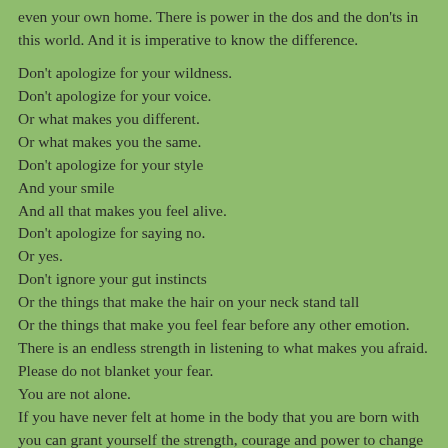even your own home. There is power in the dos and the don'ts in this world. And it is imperative to know the difference.
Don't apologize for your wildness.
Don't apologize for your voice.
Or what makes you different.
Or what makes you the same.
Don't apologize for your style
And your smile
And all that makes you feel alive.
Don't apologize for saying no.
Or yes.
Don't ignore your gut instincts
Or the things that make the hair on your neck stand tall
Or the things that make you feel fear before any other emotion.
There is an endless strength in listening to what makes you afraid.
Please do not blanket your fear.
You are not alone.
If you have never felt at home in the body that you are born with you can grant yourself the strength, courage and power to change it.
Your body is yours. Your mind is yours. Your soul is yours.